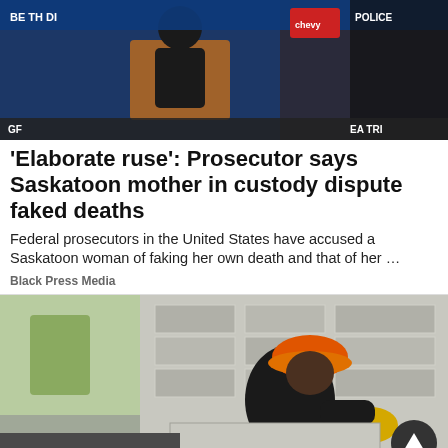[Figure (photo): A person at a podium with microphone, blue background with text, and a Chevy logo visible]
'Elaborate ruse': Prosecutor says Saskatoon mother in custody dispute faked deaths
Federal prosecutors in the United States have accused a Saskatoon woman of faking her own death and that of her …
Black Press Media
[Figure (photo): A construction worker wearing an orange hard hat and yellow gloves working on a brick/concrete block wall]
[Figure (other): Advertisement banner for Rimbey Implements Ltd. featuring STIHL and Auto Parts Plus logos]